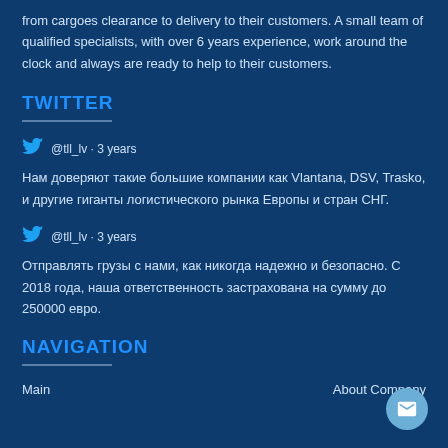from cargoes clearance to delivery to their customers. A small team of qualified specialists, with over 6 years experience, work around the clock and always are ready to help to their customers.
TWITTER
@tll_lv · 3 years
Нам доверяют такие большие компании как Vlantana, DSV, Trasko, и другие гиганты логистического рынка Европы и стран СНГ.
@tll_lv · 3 years
Отправлять грузы с нами, как никогда надежно и безопасно. С 2018 года, наша ответственность застрахована на сумму до 250000 евро.
NAVIGATION
Main
About Company